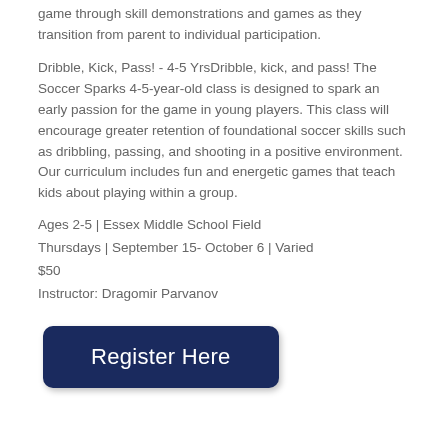game through skill demonstrations and games as they transition from parent to individual participation.
Dribble, Kick, Pass! - 4-5 YrsDribble, kick, and pass! The Soccer Sparks 4-5-year-old class is designed to spark an early passion for the game in young players. This class will encourage greater retention of foundational soccer skills such as dribbling, passing, and shooting in a positive environment. Our curriculum includes fun and energetic games that teach kids about playing within a group.
Ages 2-5 | Essex Middle School Field
Thursdays | September 15- October 6 | Varied
$50
Instructor: Dragomir Parvanov
[Figure (other): Dark navy blue rounded rectangle button with white text reading 'Register Here']